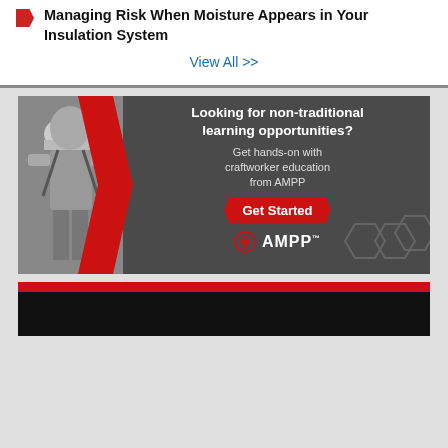Managing Risk When Moisture Appears in Your Insulation System
View All >>
[Figure (advertisement): AMPP advertisement banner: 'Looking for non-traditional learning opportunities? Get hands-on with craftworker education from AMPP. Get Started.' Features a worker in safety gear and AMPP logo with red chevron design.]
[Figure (advertisement): Partial view of another advertisement banner with red and black bars visible at bottom of page.]